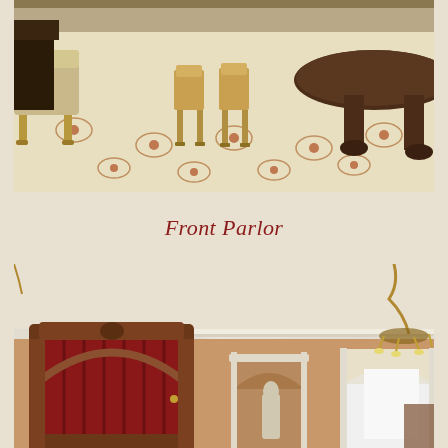[Figure (photo): Interior photo of a Victorian parlor room showing ornate furniture including chairs with gilded legs, a patterned carpet with floral medallions, and antique tables with carved feet.]
Front Parlor
[Figure (photo): Interior photo of a Victorian-era room showing arched doorways, decorative crown molding, warm terracotta/orange walls, a large ornate wooden arch with red curtains, smaller arched niches, a chandelier, and a statue visible in one alcove.]